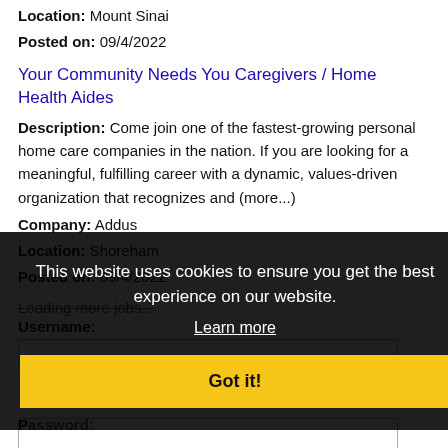Location: Mount Sinai
Posted on: 09/4/2022
Your Community Needs You Caregivers / Home Health Aides
Description: Come join one of the fastest-growing personal home care companies in the nation. If you are looking for a meaningful, fulfilling career with a dynamic, values-driven organization that recognizes and (more...)
Company: Addus
Location: Shoreham
Posted on: 09/4/2022
Loading more jobs...
This website uses cookies to ensure you get the best experience on our website. Learn more Got it!
Username:
Password: